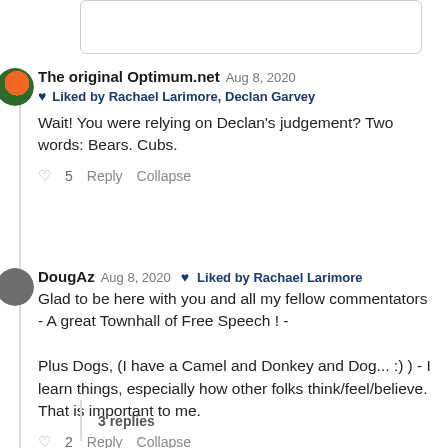The original Optimum.net  Aug 8, 2020  ♥ Liked by Rachael Larimore, Declan Garvey
Wait! You were relying on Declan's judgement? Two words: Bears. Cubs.
♡ 5  Reply  Collapse
DougAz  Aug 8, 2020  ♥ Liked by Rachael Larimore
Glad to be here with you and all my fellow commentators - A great Townhall of Free Speech ! -

Plus Dogs, (I have a Camel and Donkey and Dog... :) ) - I learn things, especially how other folks think/feel/believe. That is important to me.
♡ 2  Reply  Collapse
3 replies